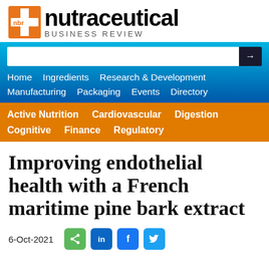[Figure (logo): NBR Nutraceutical Business Review logo with orange cross/plus icon and 'nbr' text in white, followed by 'nutraceutical' in bold black and 'BUSINESS REVIEW' in smaller gray text below]
Home   Ingredients   Research & Development   Manufacturing   Packaging   Events   Directory
Active Nutrition   Cardiovascular   Digestion   Cognitive   Finance   Regulatory
Improving endothelial health with a French maritime pine bark extract
6-Oct-2021